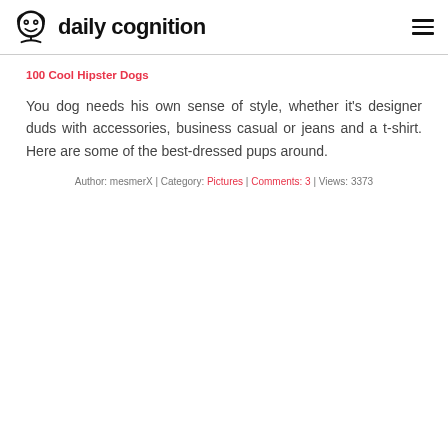daily cognition
100 Cool Hipster Dogs
You dog needs his own sense of style, whether it's designer duds with accessories, business casual or jeans and a t-shirt. Here are some of the best-dressed pups around.
Author: mesmerX | Category: Pictures | Comments: 3 | Views: 3373